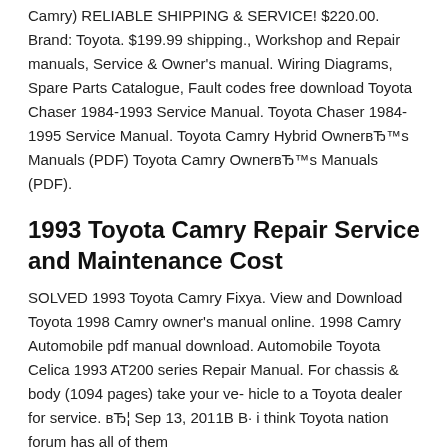Camry) RELIABLE SHIPPING & SERVICE! $220.00. Brand: Toyota. $199.99 shipping., Workshop and Repair manuals, Service & Owner's manual. Wiring Diagrams, Spare Parts Catalogue, Fault codes free download Toyota Chaser 1984-1993 Service Manual. Toyota Chaser 1984-1995 Service Manual. Toyota Camry Hybrid OwnerвЂ™s Manuals (PDF) Toyota Camry OwnerвЂ™s Manuals (PDF).
1993 Toyota Camry Repair Service and Maintenance Cost
SOLVED 1993 Toyota Camry Fixya. View and Download Toyota 1998 Camry owner's manual online. 1998 Camry Automobile pdf manual download. Automobile Toyota Celica 1993 AT200 series Repair Manual. For chassis & body (1094 pages) take your ve- hicle to a Toyota dealer for service. вЂ¦ Sep 13, 2011В В· i think Toyota nation forum has all of them